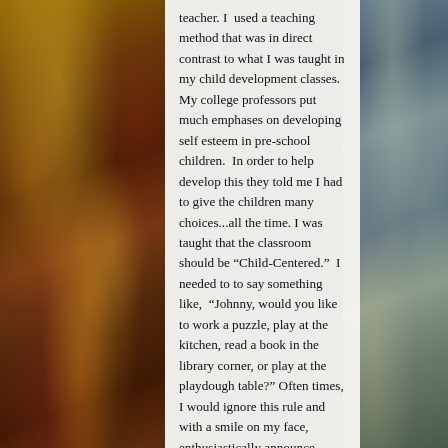[Figure (photo): Decorative Christmas tree with red and gold ornaments, lights, and foliage on the left side of the page]
[Figure (photo): Decorative holiday scene with greenery, ornaments, fireplace or mantle area on the right side of the page]
teacher. I used a teaching method that was in direct contrast to what I was taught in my child development classes. My college professors put much emphases on developing self esteem in pre-school children. In order to help develop this they told me I had to give the children many choices...all the time. I was taught that the classroom should be “Child-Centered.” I needed to to say something like, “Johnny, would you like to work a puzzle, play at the kitchen, read a book in the library corner, or play at the playdough table?” Often times, I would ignore this rule and with a smile on my face, enthusiastically announce “Playdough Time!” Usually the children